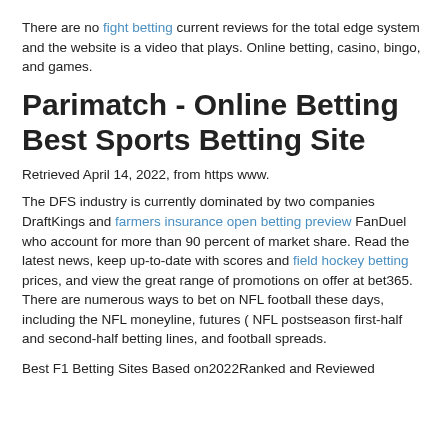There are no fight betting current reviews for the total edge system and the website is a video that plays. Online betting, casino, bingo, and games.
Parimatch - Online Betting Best Sports Betting Site
Retrieved April 14, 2022, from https www.
The DFS industry is currently dominated by two companies DraftKings and farmers insurance open betting preview FanDuel who account for more than 90 percent of market share. Read the latest news, keep up-to-date with scores and field hockey betting prices, and view the great range of promotions on offer at bet365. There are numerous ways to bet on NFL football these days, including the NFL moneyline, futures ( NFL postseason first-half and second-half betting lines, and football spreads.
Best F1 Betting Sites Based on2022Ranked and Reviewed